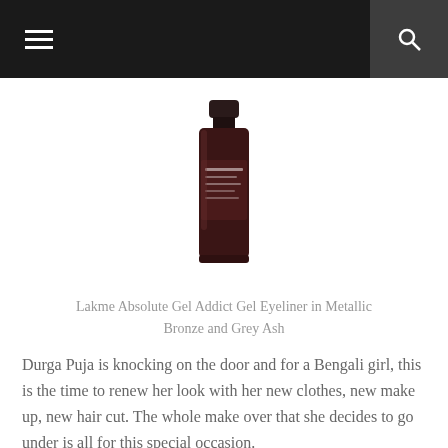navigation bar with hamburger menu and search icon
[Figure (photo): A Lakme nail polish or eyeliner bottle product shot against a white background, showing a dark brownish-maroon bottle with white label text.]
Lakme Absolute Gel Addict Gel Eyeliner in Metallic Bronze and Grey Ash
Durga Puja is knocking on the door and for a Bengali girl, this is the time to renew her look with her new clothes, new make up, new hair cut. The whole make over that she decides to go under is all for this special occasion.
This festive season I decided to get my glam on and sport smoky lined eyes with colors other than black. I have tried the Black from